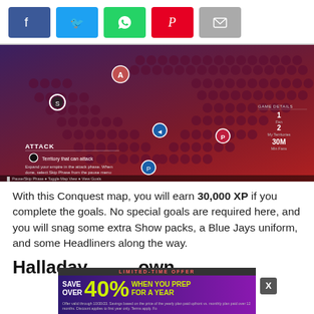[Figure (other): Social media share buttons: Facebook (blue), Twitter (light blue), WhatsApp (green), Pinterest (red), Email (gray)]
[Figure (screenshot): MLB The Show Conquest map screenshot showing a heart-shaped territory map with team icons (Blue Jays, etc.), dark purple-to-red gradient background with hexagonal grid territories. Shows ATTACK panel, GAME DETAILS panel with stats: 1 Fan, 2 My Territories, 30M Min Fans. Bottom bar shows Pause/Skip Phase, Toggle Map View, View Goals.]
With this Conquest map, you will earn 30,000 XP if you complete the goals. No special goals are required here, and you will snag some extra Show packs, a Blue Jays uniform, and some Headliners along the way.
Halladay  own